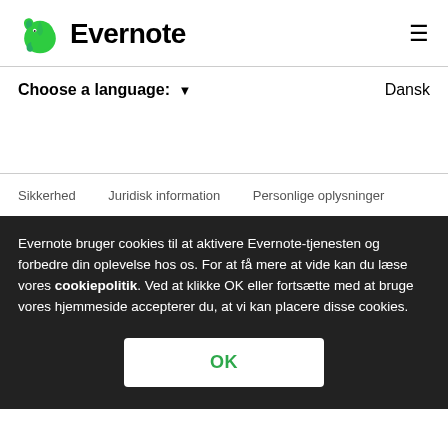[Figure (logo): Evernote green elephant logo with 'Evernote' wordmark in bold black]
Choose a language: ▼
Dansk
Sikkerhed   Juridisk information   Personlige oplysninger
Evernote bruger cookies til at aktivere Evernote-tjenesten og forbedre din oplevelse hos os. For at få mere at vide kan du læse vores cookiepolitik. Ved at klikke OK eller fortsætte med at bruge vores hjemmeside accepterer du, at vi kan placere disse cookies.
OK